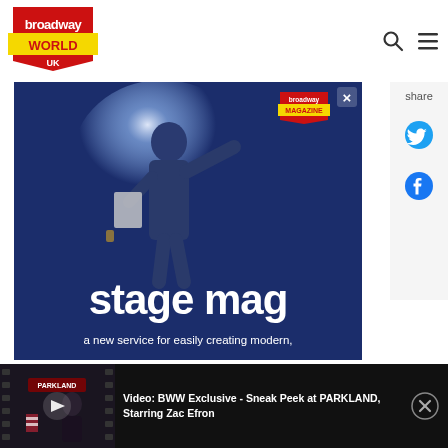[Figure (logo): BroadwayWorld UK logo - red badge with yellow banner and 'UK' text]
[Figure (screenshot): Stage Mag advertisement - dark blue background with actor silhouetted against spotlight, text 'stage mag' and 'a new service for easily creating modern,' with Broadway Magazine logo badge]
[Figure (screenshot): Share sidebar with Twitter and Facebook icons]
[Figure (screenshot): Video bar: BWW Exclusive - Sneak Peek at PARKLAND, Starring Zac Efron. Thumbnail shows woman in black outfit with film strip overlay.]